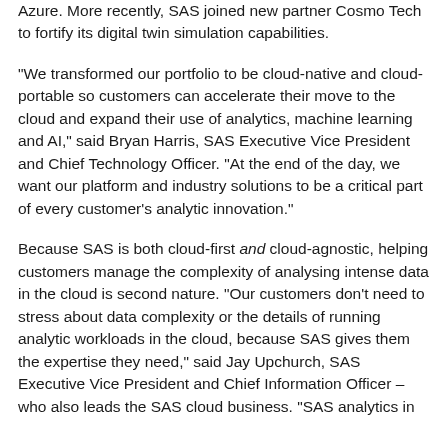Azure. More recently, SAS joined new partner Cosmo Tech to fortify its digital twin simulation capabilities.
"We transformed our portfolio to be cloud-native and cloud-portable so customers can accelerate their move to the cloud and expand their use of analytics, machine learning and AI," said Bryan Harris, SAS Executive Vice President and Chief Technology Officer. "At the end of the day, we want our platform and industry solutions to be a critical part of every customer's analytic innovation."
Because SAS is both cloud-first and cloud-agnostic, helping customers manage the complexity of analysing intense data in the cloud is second nature. "Our customers don't need to stress about data complexity or the details of running analytic workloads in the cloud, because SAS gives them the expertise they need," said Jay Upchurch, SAS Executive Vice President and Chief Information Officer – who also leads the SAS cloud business. "SAS analytics in